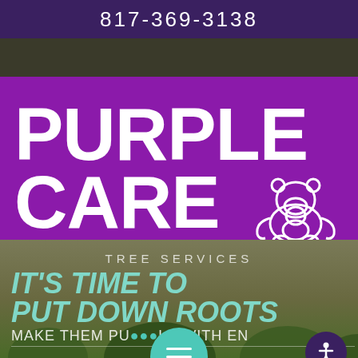817-369-3138
[Figure (logo): Purple Care logo with large bold white text PURPLE CARE on purple background, with white gorilla/animal icon at bottom right]
TREE SERVICES
IT'S TIME TO PUT DOWN ROOTS
MAKE THEM PURPLE WITH ENY